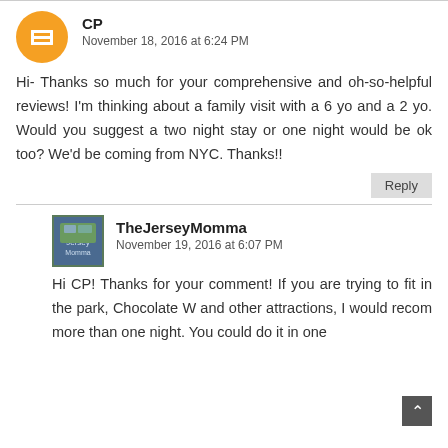CP
November 18, 2016 at 6:24 PM
Hi- Thanks so much for your comprehensive and oh-so-helpful reviews! I'm thinking about a family visit with a 6 yo and a 2 yo. Would you suggest a two night stay or one night would be ok too? We'd be coming from NYC. Thanks!!
Reply
TheJerseyMomma
November 19, 2016 at 6:07 PM
Hi CP! Thanks for your comment! If you are trying to fit in the park, Chocolate W and other attractions, I would recom more than one night. You could do it in one